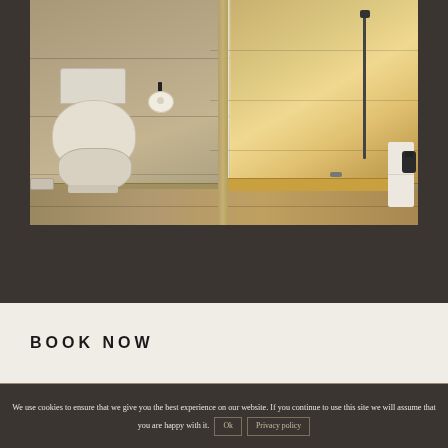[Figure (photo): Photo of a marble/stone-tiled bathroom showing a white toilet with toilet paper holder on the left, and an open walk-in shower with handheld shower hose, stone walls, and white towel on the right. The bathroom has warm beige/golden stone tile walls and floor.]
BOOK NOW
We use cookies to ensure that we give you the best experience on our website. If you continue to use this site we will assume that you are happy with it. Ok Privacy policy